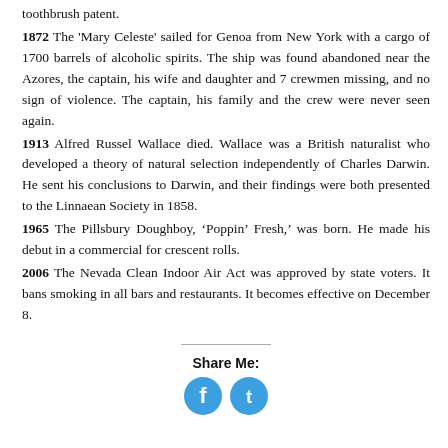toothbrush patent.
1872 The 'Mary Celeste' sailed for Genoa from New York with a cargo of 1700 barrels of alcoholic spirits. The ship was found abandoned near the Azores, the captain, his wife and daughter and 7 crewmen missing, and no sign of violence. The captain, his family and the crew were never seen again.
1913 Alfred Russel Wallace died. Wallace was a British naturalist who developed a theory of natural selection independently of Charles Darwin. He sent his conclusions to Darwin, and their findings were both presented to the Linnaean Society in 1858.
1965 The Pillsbury Doughboy, ‘Poppin’ Fresh,’ was born. He made his debut in a commercial for crescent rolls.
2006 The Nevada Clean Indoor Air Act was approved by state voters. It bans smoking in all bars and restaurants. It becomes effective on December 8.
Share Me: